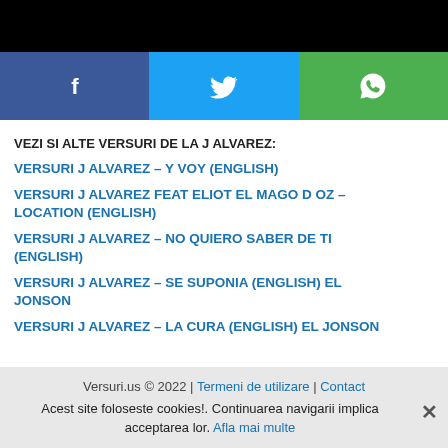[Figure (other): Black header bar at top of page]
[Figure (other): Social sharing buttons bar with Facebook (blue), Twitter (light blue), and WhatsApp (green) icons]
VEZI SI ALTE VERSURI DE LA J ALVAREZ:
VERSURI J ALVAREZ – Y VOY (ENGLISH)
VERSURI J ALVAREZ FEAT ELIOT EL MAGO D OZ – LOCATION (ENGLISH)
VERSURI J ALVAREZ – NO QUIERO SABER DE TI (ENGLISH)
VERSURI J ALVAREZ – SE SUPONIA (ENGLISH) EL JONSON
VERSURI J ALVAREZ – LA CURA (ENGLISH) EL JONSON
Versuri.us © 2022 | Termeni de utilizare | Contact
Acest site foloseste cookies!. Continuarea navigarii implica acceptarea lor. Afla mai multe